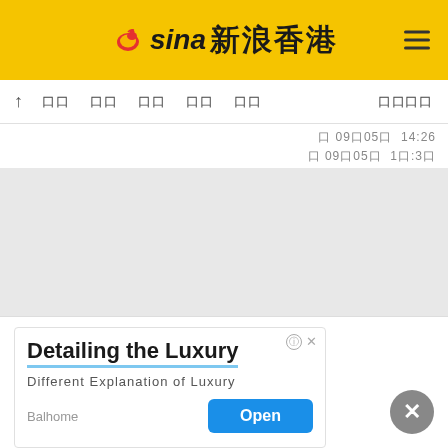sina 新浪香港
↑ 口口 口口 口口 口口 口口 口口口口
口 09口05口 14:26 口 09口05口 1口:3口
[Figure (screenshot): Gray content area placeholder]
Detailing the Luxury
Different Explanation of Luxury
Balhome
Open